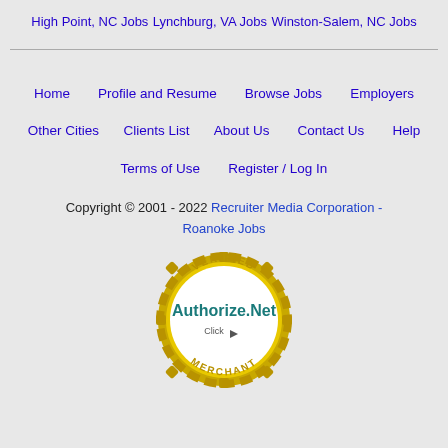High Point, NC Jobs
Lynchburg, VA Jobs
Winston-Salem, NC Jobs
Home   Profile and Resume   Browse Jobs   Employers   Other Cities   Clients List   About Us   Contact Us   Help   Terms of Use   Register / Log In
Copyright © 2001 - 2022 Recruiter Media Corporation - Roanoke Jobs
[Figure (logo): Authorize.Net Verified Merchant seal/badge]